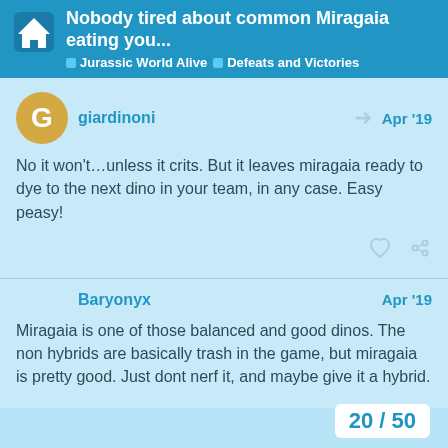Nobody tired about common Miragaia eating you... | Jurassic World Alive | Defeats and Victories
giardinoni Apr '19
No it won't…unless it crits. But it leaves miragaia ready to dye to the next dino in your team, in any case. Easy peasy!
Baryonyx Apr '19
Miragaia is one of those balanced and good dinos. The non hybrids are basically trash in the game, but miragaia is pretty good. Just dont nerf it, and maybe give it a hybrid.
20 / 50